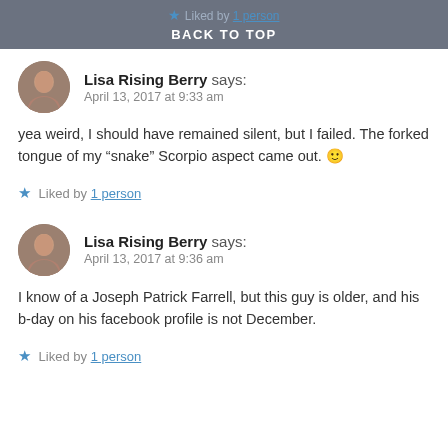Liked by 1 person
BACK TO TOP
Lisa Rising Berry says:
April 13, 2017 at 9:33 am
yea weird, I should have remained silent, but I failed. The forked tongue of my “snake” Scorpio aspect came out. 🙂
★ Liked by 1 person
Lisa Rising Berry says:
April 13, 2017 at 9:36 am
I know of a Joseph Patrick Farrell, but this guy is older, and his b-day on his facebook profile is not December.
★ Liked by 1 person